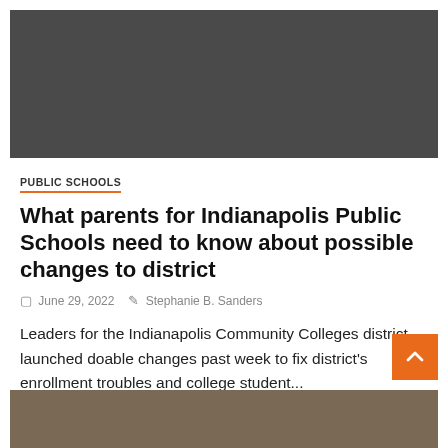[Figure (photo): Dark gray rectangular hero image placeholder at the top of the article]
PUBLIC SCHOOLS
What parents for Indianapolis Public Schools need to know about possible changes to district
June 29, 2022   Stephanie B. Sanders
Leaders for the Indianapolis Community Colleges district launched doable changes past week to fix district's enrollment troubles and college student...
[Figure (photo): Bottom partial image showing people, partially visible at the bottom of the page]